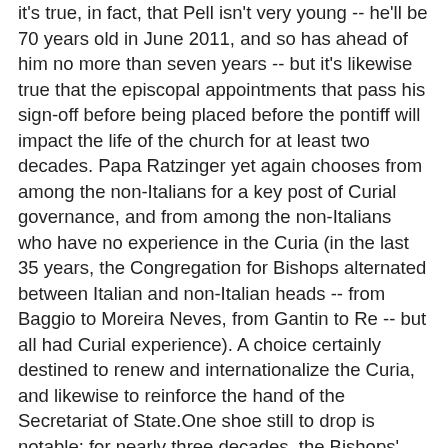it's true, in fact, that Pell isn't very young -- he'll be 70 years old in June 2011, and so has ahead of him no more than seven years -- but it's likewise true that the episcopal appointments that pass his sign-off before being placed before the pontiff will impact the life of the church for at least two decades. Papa Ratzinger yet again chooses from among the non-Italians for a key post of Curial governance, and from among the non-Italians who have no experience in the Curia (in the last 35 years, the Congregation for Bishops alternated between Italian and non-Italian heads -- from Baggio to Moreira Neves, from Gantin to Re -- but all had Curial experience). A choice certainly destined to renew and internationalize the Curia, and likewise to reinforce the hand of the Secretariat of State.One shoe still to drop is notable: for nearly three decades, the Bishops' chief has done double-duty as head of the Pontifical Commission for Latin America -- Rome's south-of-the-border lookout post, founded in the heyday of liberation theology.With the continent now claiming roughly half of the global church's billion-plus membership, but Pell's global experience largely limited to the Anglosphere, the future of the joint arrangement will bear watching over the weeks ahead... among other things.